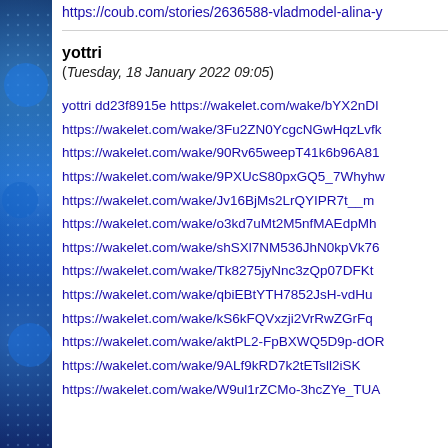https://coub.com/stories/2636588-vladmodel-alina-y
yottri
(Tuesday, 18 January 2022 09:05)
yottri dd23f8915e https://wakelet.com/wake/bYX2nDI
https://wakelet.com/wake/3Fu2ZN0YcgcNGwHqzLvfk
https://wakelet.com/wake/90Rv65weepT41k6b96A81
https://wakelet.com/wake/9PXUcS80pxGQ5_7Whyhw
https://wakelet.com/wake/Jv16BjMs2LrQYIPR7t__m
https://wakelet.com/wake/o3kd7uMt2M5nfMAEdpMh
https://wakelet.com/wake/shSXl7NM536JhN0kpVk76
https://wakelet.com/wake/Tk8275jyNnc3zQp07DFKt
https://wakelet.com/wake/qbiEBtYTH7852JsH-vdHu
https://wakelet.com/wake/kS6kFQVxzji2VrRwZGrFq
https://wakelet.com/wake/aktPL2-FpBXWQ5D9p-dOR
https://wakelet.com/wake/9ALf9kRD7k2tETsll2iSK
https://wakelet.com/wake/W9ul1rZCMo-3hcZYe_TUA